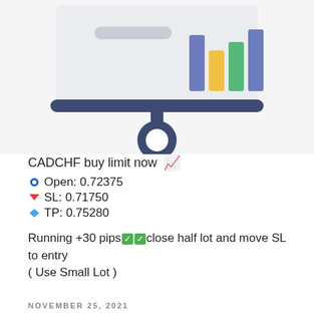[Figure (illustration): Decorative illustration of a presentation board/chart with colored bar columns and a circular pin/pointer element below, on a light gray background.]
CADCHF buy limit now 📈
🔵 Open: 0.72375
🔻 SL: 0.71750
🔷 TP: 0.75280
Running +30 pips ✅✅ close half lot and move SL to entry
( Use Small Lot )
NOVEMBER 25, 2021
GBPCAD BUY (Take Profit)